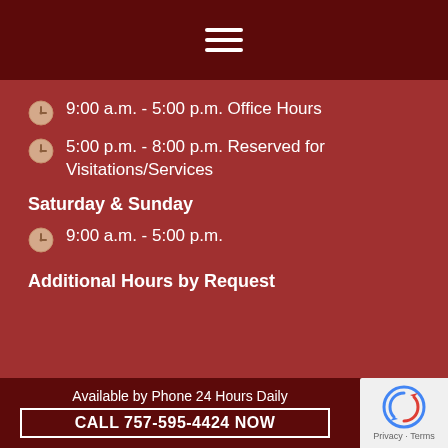Navigation menu icon (hamburger)
9:00 a.m. - 5:00 p.m. Office Hours
5:00 p.m. - 8:00 p.m. Reserved for Visitations/Services
Saturday & Sunday
9:00 a.m. - 5:00 p.m.
Additional Hours by Request
Available by Phone 24 Hours Daily
CALL 757-595-4424 NOW